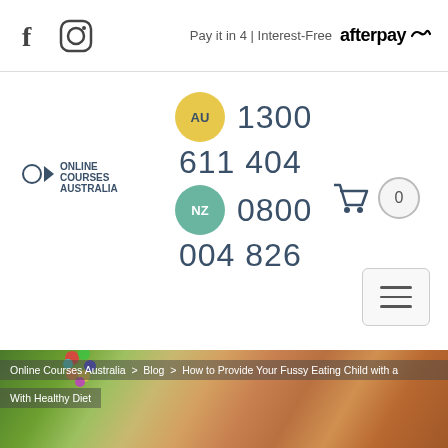[Figure (screenshot): Website header with Facebook and Instagram social icons on the left, and Afterpay 'Pay it in 4 | Interest-Free' logo on the right]
[Figure (logo): OCA Online Courses Australia logo]
AU 1300
611 404
NZ 0800
004 826
[Figure (screenshot): Hamburger menu button (three horizontal lines) in a rounded rectangle]
[Figure (photo): Child eating a carrot with colorful ball decoration, background hero image for blog post about fussy eating]
Online Courses Australia > Blog > How to Provide Your Fussy Eating Child with a
With Healthy Diet